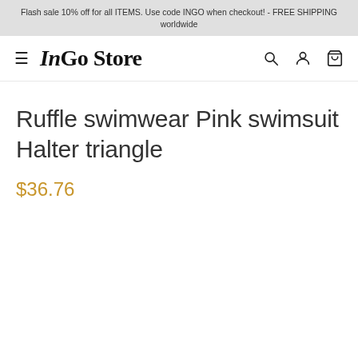Flash sale 10% off for all ITEMS. Use code INGO when checkout! - FREE SHIPPING worldwide
[Figure (logo): InGo Store logo with hamburger menu and navigation icons (search, account, cart)]
Ruffle swimwear Pink swimsuit Halter triangle
$36.76